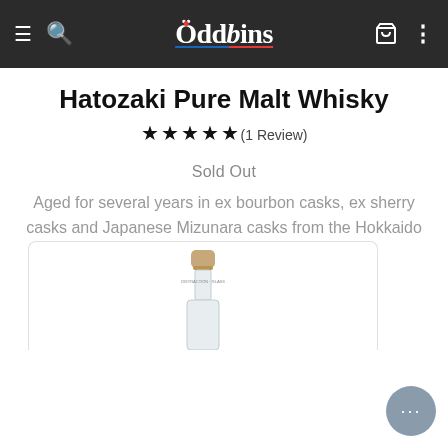Oddbins
Hatozaki Pure Malt Whisky
★★★★★ (1 Review)
Sold Out
Aged for several years in ex bourbon casks, ex sherry casks and Japanese Mizunara casks from the Hokkaido and Tohuku forests, this whisky carries a...
[Figure (screenshot): ADD TO CART button (grey rounded rectangle) with a blue heart icon to the right]
[Figure (photo): Bottom portion of a whisky bottle with cork stopper, partially visible at the bottom of the page]